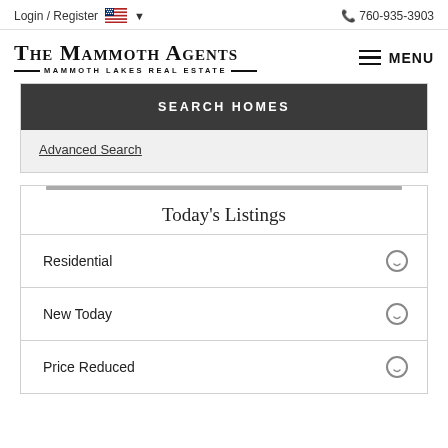Login / Register  🇺🇸 ▾   📞 760-935-3903
[Figure (logo): The Mammoth Agents – Mammoth Lakes Real Estate logo with hamburger MENU button]
SEARCH HOMES
Advanced Search
Today's Listings
Residential
New Today
Price Reduced